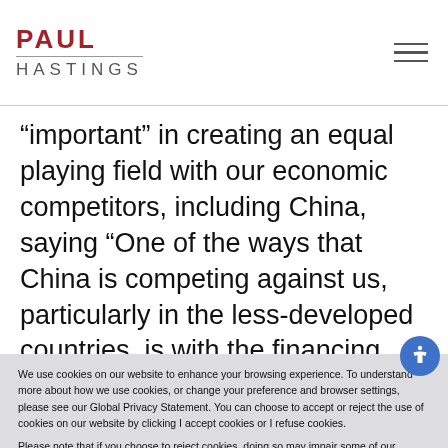PAUL HASTINGS
“important” in creating an equal playing field with our economic competitors, including China, saying “One of the ways that China is competing against us, particularly in the less-developed countries, is with the financing from
We use cookies on our website to enhance your browsing experience. To understand more about how we use cookies, or change your preference and browser settings, please see our Global Privacy Statement. You can choose to accept or reject the use of cookies on our website by clicking I accept cookies or I refuse cookies.

Please note that if you choose to reject cookies, doing so may impair some of our website’s functionality.
I ACCEPT
I Refuse